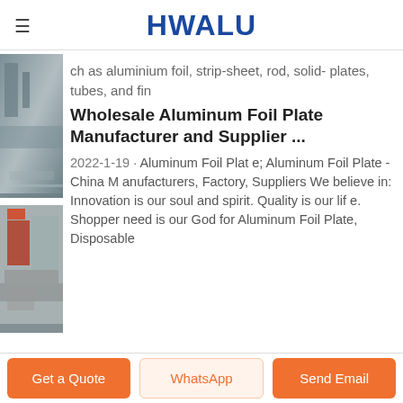HWALU
ch as aluminium foil, strip-sheet, rod, solid- plates, tubes, and fin
Wholesale Aluminum Foil Plate Manufacturer and Supplier ...
2022-1-19 · Aluminum Foil Plate; Aluminum Foil Plate - China Manufacturers, Factory, Suppliers We believe in: Innovation is our soul and spirit. Quality is our life. Shopper need is our God for Aluminum Foil Plate, Disposable
[Figure (photo): Industrial aluminum manufacturing facility interior, first thumbnail]
[Figure (photo): Industrial aluminum manufacturing facility interior, second thumbnail with red/orange machinery]